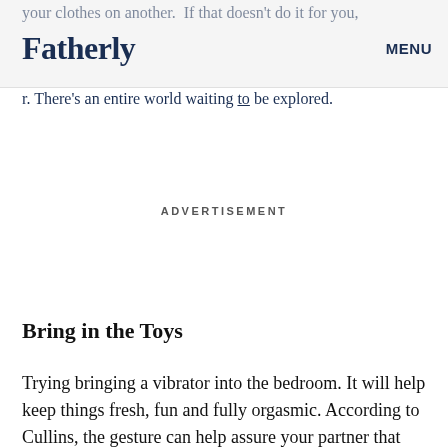your clothes on another. If that doesn't do it for you, [logo: Fatherly] [MENU] r. There's an entire world waiting to be explored.
ADVERTISEMENT
Bring in the Toys
Trying bringing a vibrator into the bedroom. It will help keep things fresh, fun and fully orgasmic. According to Cullins, the gesture can help assure your partner that you haven't resigned yourself to